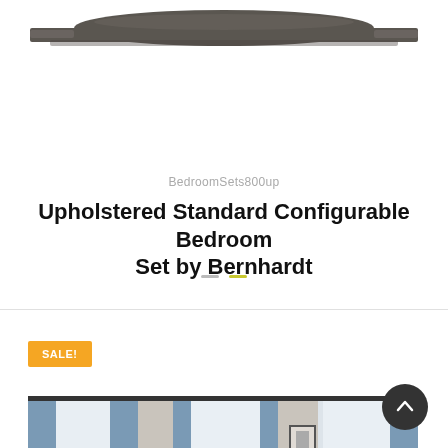[Figure (photo): Top portion of a wooden headboard in a dark gray/charcoal finish, showing curved top rail and side posts against a white background.]
BedroomSets800up
Upholstered Standard Configurable Bedroom Set by Bernhardt
SALE!
[Figure (photo): Bedroom interior photo showing a bed with white/gray upholstered headboard, blue curtains on windows, framed artwork on wall, bright natural light.]